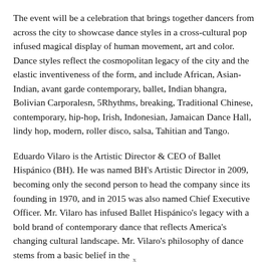The event will be a celebration that brings together dancers from across the city to showcase dance styles in a cross-cultural pop infused magical display of human movement, art and color. Dance styles reflect the cosmopolitan legacy of the city and the elastic inventiveness of the form, and include African, Asian-Indian, avant garde contemporary, ballet, Indian bhangra, Bolivian Carporalesn, 5Rhythms, breaking, Traditional Chinese, contemporary, hip-hop, Irish, Indonesian, Jamaican Dance Hall, lindy hop, modern, roller disco, salsa, Tahitian and Tango.
Eduardo Vilaro is the Artistic Director & CEO of Ballet Hispánico (BH). He was named BH's Artistic Director in 2009, becoming only the second person to head the company since its founding in 1970, and in 2015 was also named Chief Executive Officer. Mr. Vilaro has infused Ballet Hispánico's legacy with a bold brand of contemporary dance that reflects America's changing cultural landscape. Mr. Vilaro's philosophy of dance stems from a basic belief in the
x